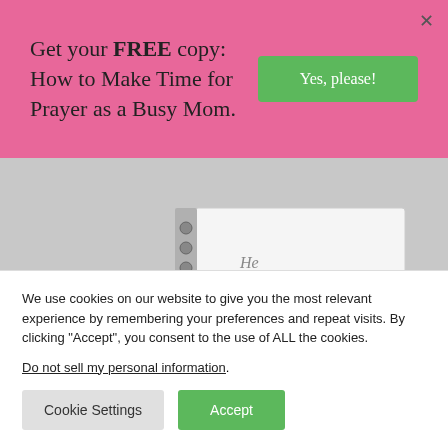Get your FREE copy: How to Make Time for Prayer as a Busy Mom.
[Figure (photo): Person holding open a spiral-bound journal/notebook with stylized text 'He THIRSTS for you' on the cover, against a light gray background.]
We use cookies on our website to give you the most relevant experience by remembering your preferences and repeat visits. By clicking "Accept", you consent to the use of ALL the cookies.
Do not sell my personal information.